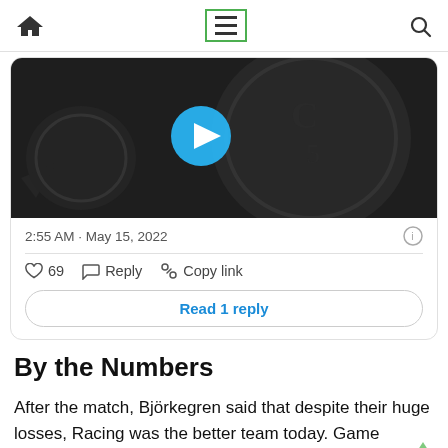Navigation bar with home icon, menu (hamburger) icon, and search icon
[Figure (screenshot): Video thumbnail showing a dark background with a blue play button circle in the center, depicting a coin or medal with decorative imagery]
2:55 AM · May 15, 2022
69   Reply   Copy link
Read 1 reply
By the Numbers
After the match, Björkegren said that despite their huge losses, Racing was the better team today. Game statistics do bear that out to some extent.